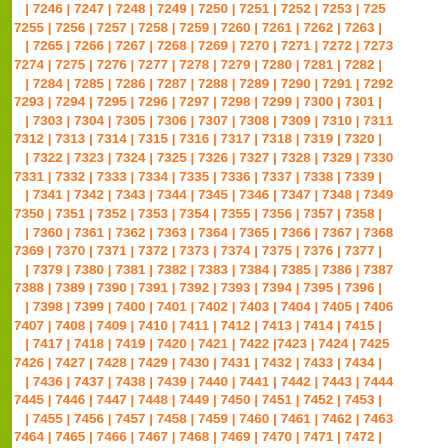| 7246 | 7247 | 7248 | 7249 | 7250 | 7251 | 7252 | 7253 | 7255 | 7256 | 7257 | 7258 | 7259 | 7260 | 7261 | 7262 | 7263 | | 7265 | 7266 | 7267 | 7268 | 7269 | 7270 | 7271 | 7272 | 7273 7274 | 7275 | 7276 | 7277 | 7278 | 7279 | 7280 | 7281 | 7282 | | 7284 | 7285 | 7286 | 7287 | 7288 | 7289 | 7290 | 7291 | 7292 7293 | 7294 | 7295 | 7296 | 7297 | 7298 | 7299 | 7300 | 7301 | | 7303 | 7304 | 7305 | 7306 | 7307 | 7308 | 7309 | 7310 | 7311 7312 | 7313 | 7314 | 7315 | 7316 | 7317 | 7318 | 7319 | 7320 | | 7322 | 7323 | 7324 | 7325 | 7326 | 7327 | 7328 | 7329 | 7330 7331 | 7332 | 7333 | 7334 | 7335 | 7336 | 7337 | 7338 | 7339 | | 7341 | 7342 | 7343 | 7344 | 7345 | 7346 | 7347 | 7348 | 7349 7350 | 7351 | 7352 | 7353 | 7354 | 7355 | 7356 | 7357 | 7358 | | 7360 | 7361 | 7362 | 7363 | 7364 | 7365 | 7366 | 7367 | 7368 7369 | 7370 | 7371 | 7372 | 7373 | 7374 | 7375 | 7376 | 7377 | | 7379 | 7380 | 7381 | 7382 | 7383 | 7384 | 7385 | 7386 | 7387 7388 | 7389 | 7390 | 7391 | 7392 | 7393 | 7394 | 7395 | 7396 | | 7398 | 7399 | 7400 | 7401 | 7402 | 7403 | 7404 | 7405 | 7406 7407 | 7408 | 7409 | 7410 | 7411 | 7412 | 7413 | 7414 | 7415 | | 7417 | 7418 | 7419 | 7420 | 7421 | 7422 | 7423 | 7424 | 7425 7426 | 7427 | 7428 | 7429 | 7430 | 7431 | 7432 | 7433 | 7434 | | 7436 | 7437 | 7438 | 7439 | 7440 | 7441 | 7442 | 7443 | 7444 7445 | 7446 | 7447 | 7448 | 7449 | 7450 | 7451 | 7452 | 7453 | | 7455 | 7456 | 7457 | 7458 | 7459 | 7460 | 7461 | 7462 | 7463 7464 | 7465 | 7466 | 7467 | 7468 | 7469 | 7470 | 7471 | 7472 | | 7474 | 7475 | 7476 | 7477 | 7478 | 7479 | 7480 | 7481 | 7482 7483 | 7484 | 7485 | 7486 | 7487 | 7488 | 7489 | 7490 | 7491 | | 7493 | 7494 | 7495 | 7496 | 7497 | 7498 | 7499 | 7500 | 7501 7502 | 7503 | 7504 | 7505 | 7506 | 7507 | 7508 | 7509 | 7510 | | 7512 | 7513 | 7514 | 7515 | 7516 | 7517 | 7518 | 7519 | 7520 7521 | 7522 | 7523 | 7524 | 7525 | 7526 | 7527 | 7528 | 7529 | | 7531 | 7532 | 7533 | 7534 | 7535 | 7536 | 7537 | 7538 | 7539 7540 | 7541 | 7542 | 7543 | 7544 | 7545 | 7546 | 7547 | 7548